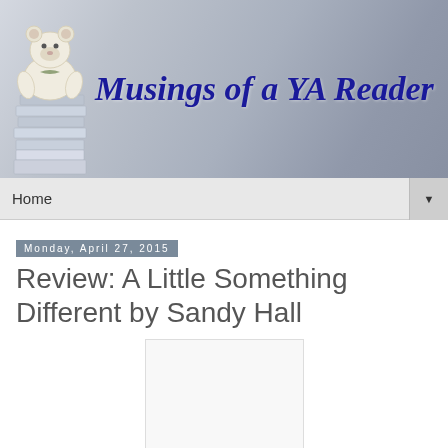[Figure (illustration): Blog header banner with teddy bear sitting on stack of books on the left, and decorative text 'Musings of a YA Reader' in dark blue gothic/calligraphic font on a grey textured background]
Home
Monday, April 27, 2015
Review: A Little Something Different by Sandy Hall
[Figure (illustration): Book cover placeholder — white/light grey rectangle representing a book cover image]